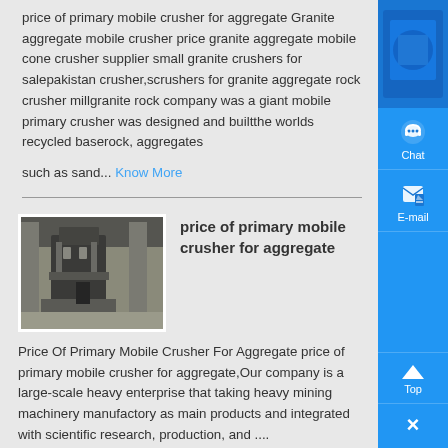price of primary mobile crusher for aggregate Granite aggregate mobile crusher price granite aggregate mobile cone crusher supplier small granite crushers for salepakistan crusher,scrushers for granite aggregate rock crusher millgranite rock company was a giant mobile primary crusher was designed and builtthe worlds recycled baserock, aggregates
such as sand... Know More
[Figure (photo): Industrial mobile crusher machinery photo thumbnail]
price of primary mobile crusher for aggregate
Price Of Primary Mobile Crusher For Aggregate price of primary mobile crusher for aggregate,Our company is a large-scale heavy enterprise that taking heavy mining machinery manufactory as main products and integrated with scientific research, production, and ....